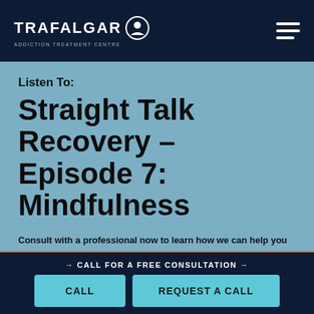TRAFALGAR ADDICTION TREATMENT CENTRE
Listen To:
Straight Talk Recovery – Episode 7: Mindfulness
Consult with a professional now to learn how we can help you or your loved one.
CALL FOR A FREE CONSULTATION →
CALL
REQUEST A CALL